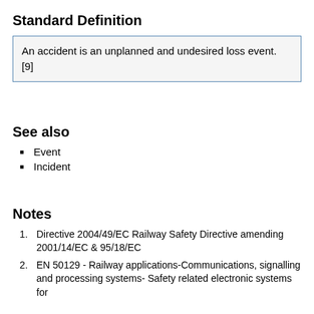Standard Definition
An accident is an unplanned and undesired loss event. [9]
See also
Event
Incident
Notes
1. Directive 2004/49/EC Railway Safety Directive amending 2001/14/EC & 95/18/EC
2. EN 50129 - Railway applications-Communications, signalling and processing systems- Safety related electronic systems for